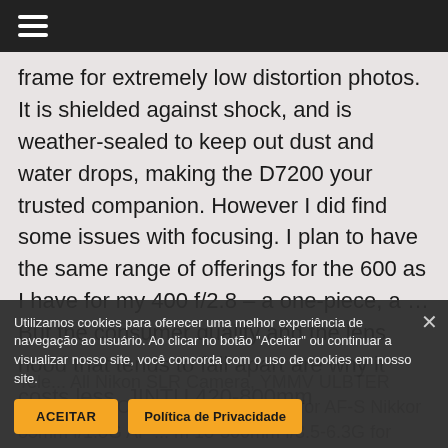☰
frame for extremely low distortion photos. It is shielded against shock, and is weather-sealed to keep out dust and water drops, making the D7200 your trusted companion. However I did find some issues with focusing. I plan to have the same range of offerings for the 600 as I have for my 400 f/2.8 – a one-piece, a … But the consumer quality and the lens hood that tends to fall apart are why it costs less. JINTU 420-800mm
Tele... All Nikon SLR Camera, YMMV ULBTER 67mm Lens Cap Cover with Leash for AF-S Nikkor 85mm f/1.8G AF ... m 18-300mm f/3.5-6.3G for Nikon D7200 D7100 D7000 D800
Utilizamos cookies para oferecer uma melhor experiência de navegação ao usuário. Ao clicar no botão "Aceitar" ou continuar a visualizar nosso site, você concorda com o uso de cookies em nosso site.